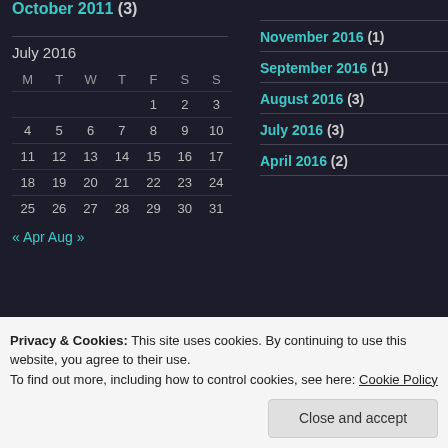October 2011 (3)
November 2016 (1)
July 2016
| M | T | W | T | F | S | S |
| --- | --- | --- | --- | --- | --- | --- |
|  |  |  |  | 1 | 2 | 3 |
| 4 | 5 | 6 | 7 | 8 | 9 | 10 |
| 11 | 12 | 13 | 14 | 15 | 16 | 17 |
| 18 | 19 | 20 | 21 | 22 | 23 | 24 |
| 25 | 26 | 27 | 28 | 29 | 30 | 31 |
September 2016 (1)
August 2016 (3)
July 2016 (3)
April 2016 (2)
« Apr   Aug »
Privacy & Cookies: This site uses cookies. By continuing to use this website, you agree to their use. To find out more, including how to control cookies, see here: Cookie Policy
Close and accept